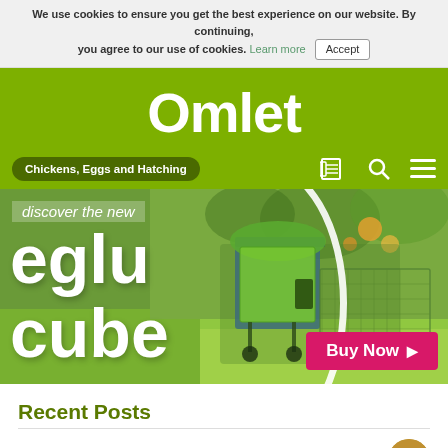We use cookies to ensure you get the best experience on our website. By continuing, you agree to our use of cookies. Learn more  Accept
[Figure (logo): Omlet logo - white cursive text on olive/lime green background]
Chickens, Eggs and Hatching
[Figure (photo): Hero banner advertising Eglu Cube chicken coop - 'discover the new eglu cube' text overlay on garden photo with green chicken coop, Buy Now button]
Recent Posts
**Thread of little facts & things**....3
1  2  3  4  165+